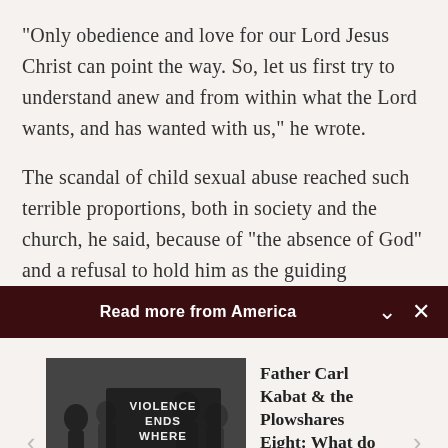"Only obedience and love for our Lord Jesus Christ can point the way. So, let us first try to understand anew and from within what the Lord wants, and has wanted with us," he wrote.
The scandal of child sexual abuse reached such terrible proportions, both in society and the church, he said, because of "the absence of God" and a refusal to hold him as the guiding
Read more from America
[Figure (photo): Black and white photo of people holding a sign that reads 'VIOLENCE ENDS WHERE LOVE begins']
Father Carl Kabat & the Plowshares Eight: What do we...
James T. Keane